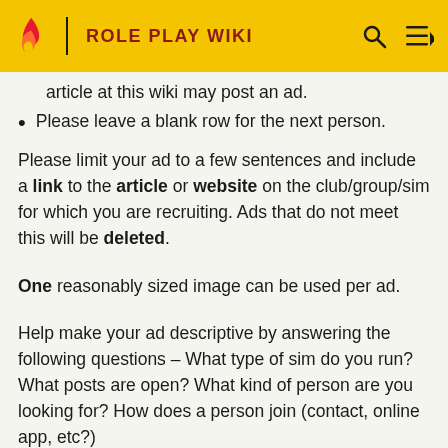ROLE PLAY WIKI
Only games/communities/players that have an article at this wiki may post an ad.
Please leave a blank row for the next person.
Please limit your ad to a few sentences and include a link to the article or website on the club/group/sim for which you are recruiting. Ads that do not meet this will be deleted.
One reasonably sized image can be used per ad.
Help make your ad descriptive by answering the following questions – What type of sim do you run? What posts are open? What kind of person are you looking for? How does a person join (contact, online app, etc?)
All new ads go at the top. If you are adding an ad, please